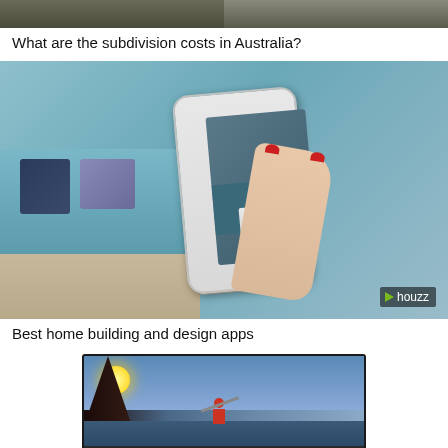[Figure (photo): Partial cropped image at top of page, showing what appears to be an outdoor/architectural scene]
What are the subdivision costs in Australia?
[Figure (photo): Woman holding a smartphone showing augmented reality furniture placement app in a living room with a teal sofa and patterned cushions. Houzz logo visible in bottom right corner.]
Best home building and design apps
[Figure (photo): Television screen showing a kayaker paddling in a scenic outdoor setting with mountains and water, bright sun visible on left side.]